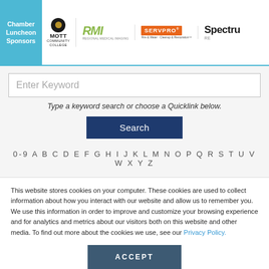Chamber Luncheon Sponsors | Mott Community College | RMI Regional Medical Imaging | SERVPRO Fire & Water - Cleanup & Restoration | Spectrum RE
Enter Keyword
Type a keyword search or choose a Quicklink below.
Search
0-9 A B C D E F G H I J K L M N O P Q R S T U V W X Y Z
This website stores cookies on your computer. These cookies are used to collect information about how you interact with our website and allow us to remember you. We use this information in order to improve and customize your browsing experience and for analytics and metrics about our visitors both on this website and other media. To find out more about the cookies we use, see our Privacy Policy.
ACCEPT